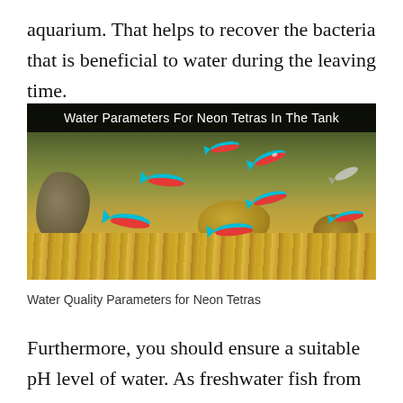aquarium. That helps to recover the bacteria that is beneficial to water during the leaving time.
[Figure (photo): Photo of neon tetra fish swimming in an aquarium tank with gravel substrate and rocks. Title overlay reads 'Water Parameters For Neon Tetras In The Tank'.]
Water Quality Parameters for Neon Tetras
Furthermore, you should ensure a suitable pH level of water. As freshwater fish from South America, Neon Tetras will thrive in the water with